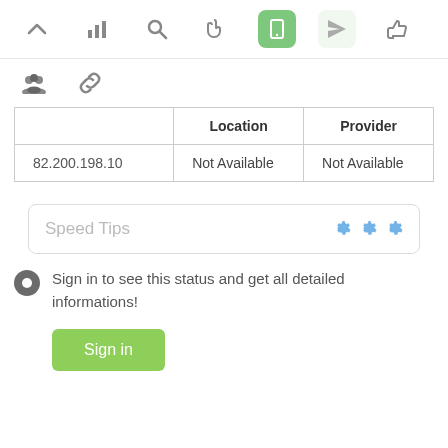[Figure (screenshot): Top navigation icon bar with icons: chevron-up, bar chart, search, hand pointer, mobile (active/green), send/location, thumbs-up]
[Figure (screenshot): Second icon row with: group/people icon, chain-link icon]
|  | Location | Provider |
| --- | --- | --- |
| 82.200.198.10 | Not Available | Not Available |
Speed Tips
Sign in to see this status and get all detailed informations!
Sign in